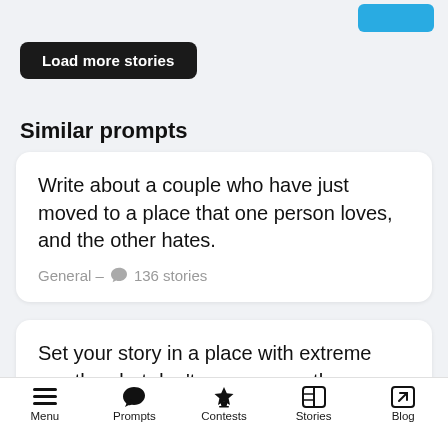[Figure (screenshot): Blue button partially visible in top right corner]
Load more stories
Similar prompts
Write about a couple who have just moved to a place that one person loves, and the other hates.
General – 136 stories
Set your story in a place with extreme weather, but don't use any weather-related words to describe it
Menu  Prompts  Contests  Stories  Blog